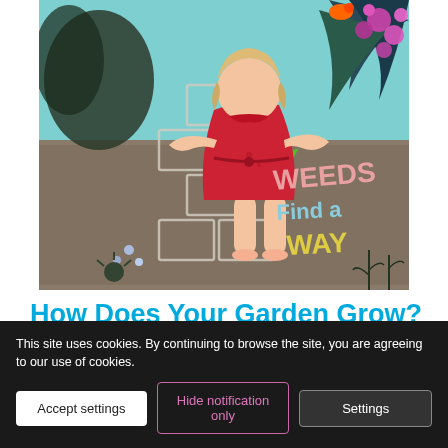[Figure (illustration): Book cover of 'Weeds Find a Way' showing a girl in a red dress from behind, standing on a hopscotch grid on stone pavement with colorful plants and flowers around her. Text on ground reads 'WEEDS Find a WAY'.]
How Does Your Garden Grow?
2 Comments / March 3, 2016
When I first created this blog, I wasn't sure where to start,...
This site uses cookies. By continuing to browse the site, you are agreeing to our use of cookies.